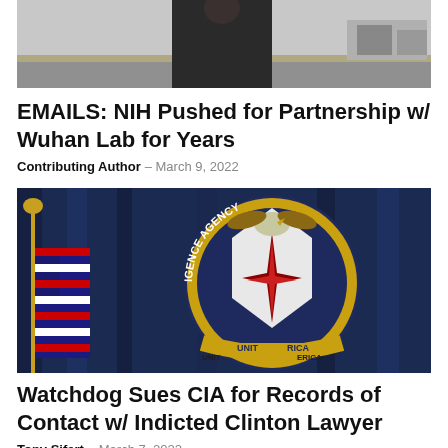[Figure (photo): Photo of a person in a dark jacket outdoors, partially cropped at top]
EMAILS: NIH Pushed for Partnership w/ Wuhan Lab for Years
Contributing Author  -  March 9, 2022
[Figure (photo): Photo of the Central Intelligence Agency seal on a dark blue curtain background, with an American flag to the left]
Watchdog Sues CIA for Records of Contact w/ Indicted Clinton Lawyer
Tony Sifert  -  March 7, 2022